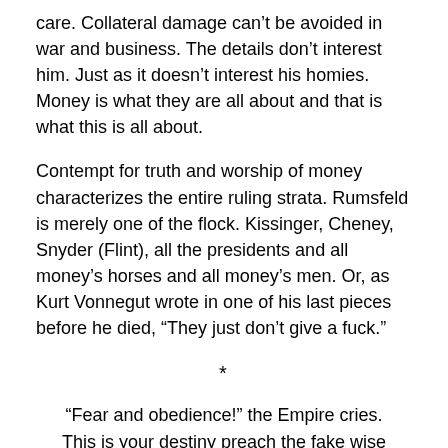care. Collateral damage can't be avoided in war and business. The details don't interest him. Just as it doesn't interest his homies. Money is what they are all about and that is what this is all about.
Contempt for truth and worship of money characterizes the entire ruling strata. Rumsfeld is merely one of the flock. Kissinger, Cheney, Snyder (Flint), all the presidents and all money's horses and all money's men. Or, as Kurt Vonnegut wrote in one of his last pieces before he died, "They just don't give a fuck."
*
“Fear and obedience!” the Empire cries.
This is your destiny preach the fake wise
wearing prestige titles for disguise.